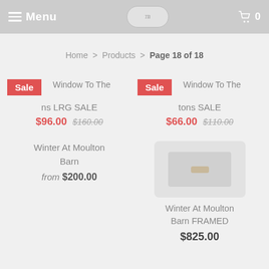Menu | [logo] | Cart 0
Home > Products > Page 18 of 18
Window To The [Mountains] LRG SALE — Sale — $96.00 $160.00
Window To The [Mountains] SALE — Sale — $66.00 $110.00
Winter At Moulton Barn — from $200.00
Winter At Moulton Barn FRAMED — $825.00